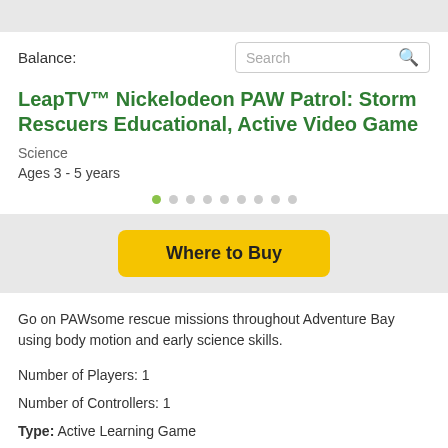Balance:
Search
LeapTV™ Nickelodeon PAW Patrol: Storm Rescuers Educational, Active Video Game
Science
Ages 3 - 5 years
Where to Buy
Go on PAWsome rescue missions throughout Adventure Bay using body motion and early science skills.
Number of Players: 1
Number of Controllers: 1
Type: Active Learning Game